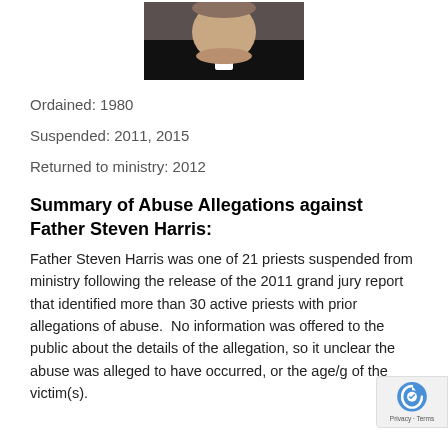[Figure (photo): Cropped photo of a man in clerical collar (dark clothing with white collar), viewed from shoulders up.]
Ordained: 1980
Suspended: 2011, 2015
Returned to ministry: 2012
Summary of Abuse Allegations against Father Steven Harris:
Father Steven Harris was one of 21 priests suspended from ministry following the release of the 2011 grand jury report that identified more than 30 active priests with prior allegations of abuse.  No information was offered to the public about the details of the allegation, so it unclear the abuse was alleged to have occurred, or the age/g of the victim(s).